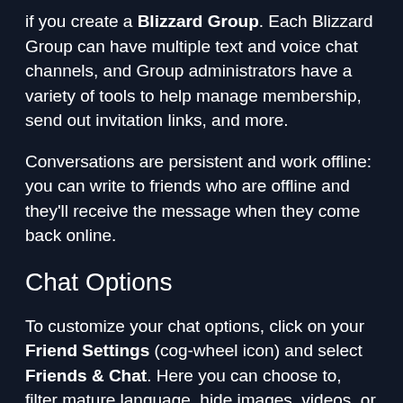if you create a Blizzard Group. Each Blizzard Group can have multiple text and voice chat channels, and Group administrators have a variety of tools to help manage membership, send out invitation links, and more.
Conversations are persistent and work offline: you can write to friends who are offline and they'll receive the message when they come back online.
Chat Options
To customize your chat options, click on your Friend Settings (cog-wheel icon) and select Friends & Chat. Here you can choose to, filter mature language, hide images, videos, or links, and more.
If you want chats from different players to each appear in a separate window, select to "Automatically receive a pop-out window for all upcoming chats".
Blizzard Chat